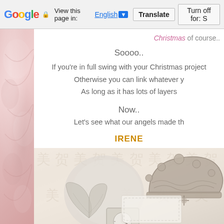Google  View this page in: English [▼]  Translate  Turn off for: S
Christmas of course..
Soooo..
If you're in full swing with your Christmas project
Otherwise you can link whatever y
As long as it has lots of layers
Now..
Let's see what our angels made th
IRENE
[Figure (photo): Craft/scrapbook photo showing ornamental metallic crown/tiara decorations and angel figurines on a textured background with Chinese character watermarks]